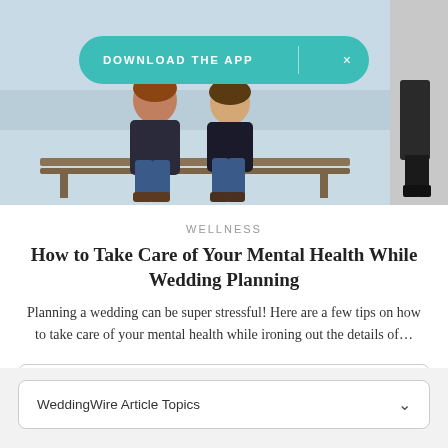[Figure (photo): Photo of a couple sitting on a bench outdoors in winter, partially cropped, with a partial figure on the right edge]
DOWNLOAD THE APP  ×
WELLNESS
How to Take Care of Your Mental Health While Wedding Planning
Planning a wedding can be super stressful! Here are a few tips on how to take care of your mental health while ironing out the details of…
View all articles
WeddingWire Article Topics